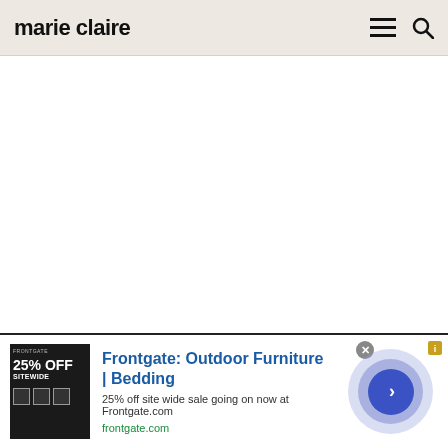marie claire
[Figure (screenshot): White blank content area below the Marie Claire header navigation bar]
[Figure (infographic): Advertisement banner for Frontgate: Outdoor Furniture | Bedding. Shows a dark promotional image with 25% OFF SITEWIDE text, headline 'Frontgate: Outdoor Furniture | Bedding', subtext '25% off site wide sale going on now at Frontgate.com', URL 'frontgate.com', and a circular blue arrow button on the right.]